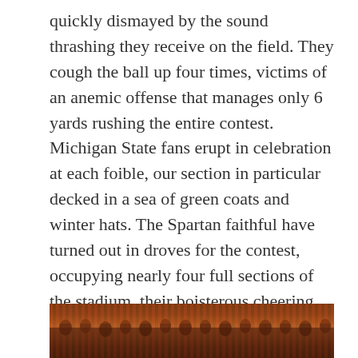quickly dismayed by the sound thrashing they receive on the field. They cough the ball up four times, victims of an anemic offense that manages only 6 yards rushing the entire contest. Michigan State fans erupt in celebration at each foible, our section in particular decked in a sea of green coats and winter hats. The Spartan faithful have turned out in droves for the contest, occupying nearly four full sections of the stadium, their boisterous cheering smothering the lifeless Terrapin crowd. Sparty tears up 482 yards of total offense, perfectly split between rushing and passing and asserting their dominance over the Big 10 newcomers. In the end, Michigan State rolls to an easy 37-15 victory, keeping their conference championship hopes alive.
[Figure (photo): A crowd photo taken at a stadium, showing spectators in the stands, with warm reddish-brown tones suggesting stadium lighting.]